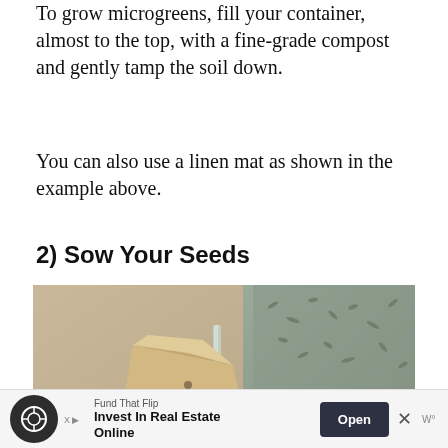To grow microgreens, fill your container, almost to the top, with a fine-grade compost and gently tamp the soil down.
You can also use a linen mat as shown in the example above.
2) Sow Your Seeds
[Figure (photo): Close-up photo of seeds being poured from a paper packet into a clear plastic container filled with growing medium/seed compost.]
[Figure (other): Advertisement bar: Fund That Flip - Invest In Real Estate Online, with Open button and close X.]